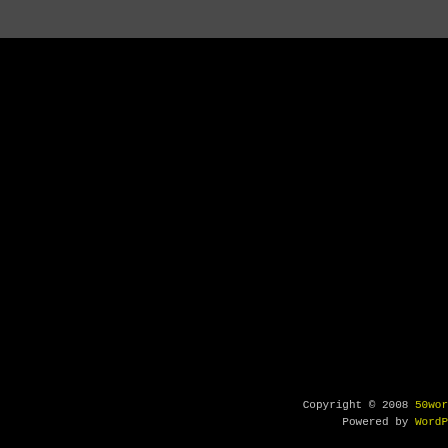Copyright © 2008 50wor... Powered by WordP...